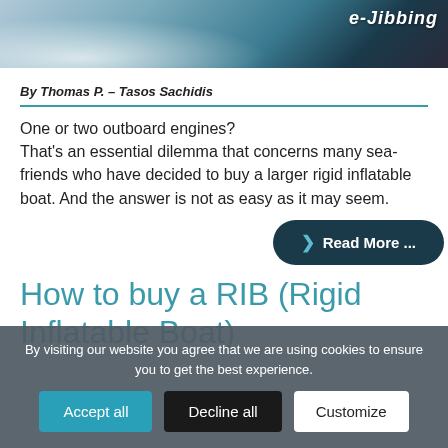[Figure (photo): Header image showing water/ocean spray with a logo 'e-Jibbing' in the top right corner on a dark navy/teal background]
By Thomas P. – Tasos Sachidis
One or two outboard engines?
That's an essential dilemma that concerns many sea-friends who have decided to buy a larger rigid inflatable boat. And the answer is not as easy as it may seem.
Read More ...
How to buy a RIB (Rigid Inflatable Boat)
By visiting our website you agree that we are using cookies to ensure you to get the best experience.